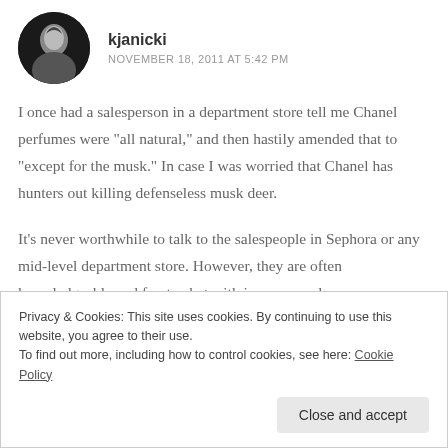[Figure (photo): Circular avatar photo of user kjanicki, showing a person in black and white]
kjanicki
NOVEMBER 18, 2011 AT 5:42 PM
I once had a salesperson in a department store tell me Chanel perfumes were "all natural," and then hastily amended that to "except for the musk." In case I was worried that Chanel has hunters out killing defenseless musk deer.
It's never worthwhile to talk to the salespeople in Sephora or any mid-level department store. However, they are often knowledgeable and fun to chat with in upper-end
Privacy & Cookies: This site uses cookies. By continuing to use this website, you agree to their use.
To find out more, including how to control cookies, see here: Cookie Policy
Close and accept